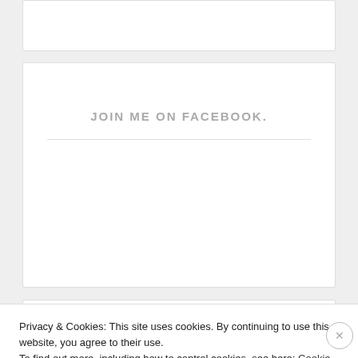[Figure (screenshot): Top portion of a white content card, partially visible at top of page]
JOIN ME ON FACEBOOK.
[Figure (screenshot): Archives section card with ARCHIVES heading and horizontal rule]
ARCHIVES
Privacy & Cookies: This site uses cookies. By continuing to use this website, you agree to their use.
To find out more, including how to control cookies, see here: Cookie Policy
Close and accept